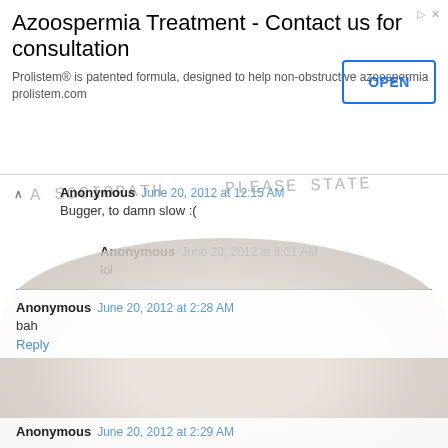[Figure (screenshot): Advertisement banner for Azoospermia Treatment with OPEN button]
Anonymous June 20, 2012 at 12:15 AM
Bugger, to damn slow :(
Anonymous June 20, 2012 at 6:01 AM
lol
Reply
Anonymous June 20, 2012 at 2:28 AM
bah
Reply
Anonymous June 20, 2012 at 2:29 AM